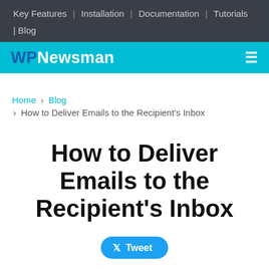Key Features | Installation | Documentation | Tutorials | Blog
WPNewsman
Home > Blog > How to Deliver Emails to the Recipient's Inbox
How to Deliver Emails to the Recipient's Inbox
Tweet